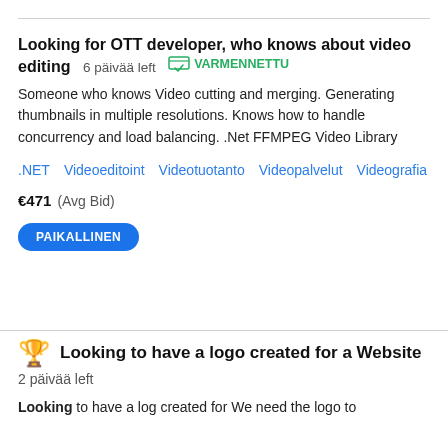Looking for OTT developer, who knows about video editing  6 päivää left  VARMENNETTU
Someone who knows Video cutting and merging. Generating thumbnails in multiple resolutions. Knows how to handle concurrency and load balancing. .Net FFMPEG Video Library
.NET   Videoeditoint   Videotuotanto   Videopalvelut   Videografia
€471  (Avg Bid)
PAIKALLINEN
Looking to have a logo created for a Website
2 päivää left
Looking to have a log created for We need the logo to